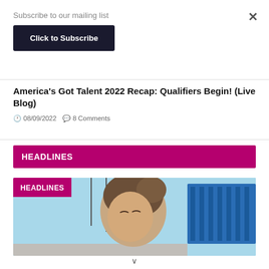Subscribe to our mailing list
Click to Subscribe
America's Got Talent 2022 Recap: Qualifiers Begin! (Live Blog)
08/09/2022   8 Comments
HEADLINES
[Figure (photo): A woman with hair up, eyes closed, outside near blue bleachers, with a HEADLINES tag overlay]
×